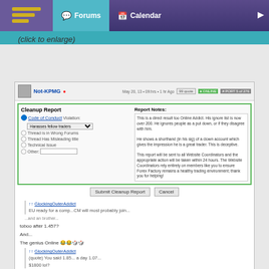Forums  Calendar
(click to enlarge)
[Figure (screenshot): Forum post screenshot showing a Cleanup Report form with fields for Code of Conduct violation, report notes, and buttons to Submit or Cancel. Below the form is a post with quoted text, 'toboo after 1.457?', 'And...' , 'The genius Online :emojis:', a quote block, 'Ohhh boy', 'Can anyone be THAT DUUUUUmable (?)', emoji, 'Did you really say 1.84 ?????', emoji.]
Gone to a better place
Edited at 2:09pm
#5
smikester